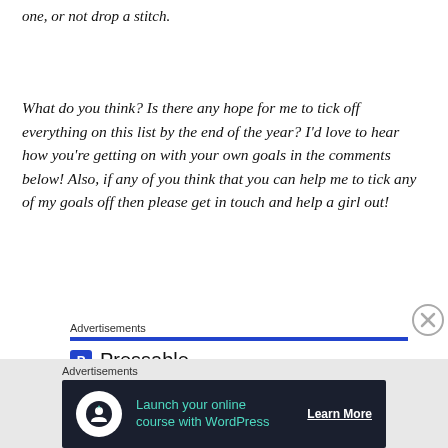one, or not drop a stitch.
What do you think? Is there any hope for me to tick off everything on this list by the end of the year? I’d love to hear how you’re getting on with your own goals in the comments below! Also, if any of you think that you can help me to tick any of my goals off then please get in touch and help a girl out!
[Figure (other): Pressable advertisement banner with blue bar, Pressable logo and dots]
[Figure (other): Bottom advertisement banner for launching online course with WordPress on dark background with Learn More button]